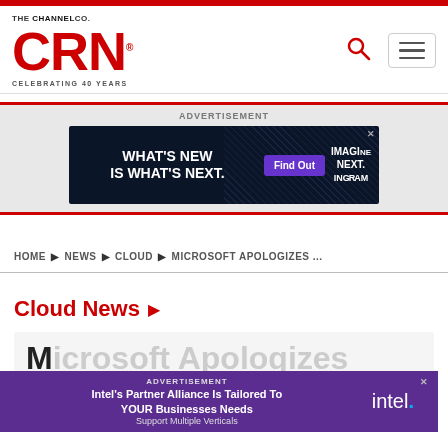THE CHANNEL CO. CRN® CELEBRATING 40 YEARS
[Figure (advertisement): Ingram Micro advertisement banner: WHAT'S NEW IS WHAT'S NEXT. Find Out. IMAGINE NEXT. INGRAM]
ADVERTISEMENT
HOME ▶ NEWS ▶ CLOUD ▶ MICROSOFT APOLOGIZES ...
Cloud News ▶
Microsoft Apologizes Fo...
[Figure (advertisement): Intel advertisement overlay: ADVERTISEMENT - Intel's Partner Alliance Is Tailored To YOUR Businesses Needs Support Multiple Verticals - intel.]